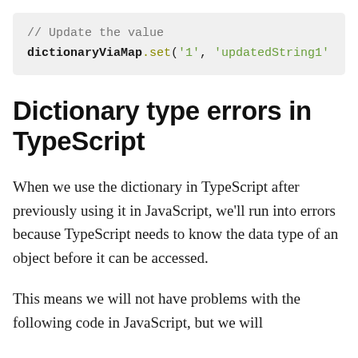[Figure (screenshot): Code block showing: // Update the value
dictionaryViaMap.set('1', 'updatedString1']
Dictionary type errors in TypeScript
When we use the dictionary in TypeScript after previously using it in JavaScript, we'll run into errors because TypeScript needs to know the data type of an object before it can be accessed.
This means we will not have problems with the following code in JavaScript, but we will